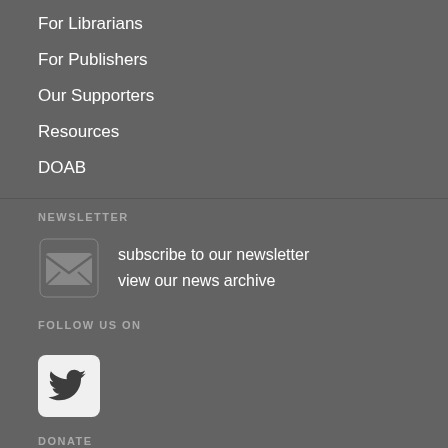For Librarians
For Publishers
Our Supporters
Resources
DOAB
NEWSLETTER
subscribe to our newsletter
view our news archive
FOLLOW US ON
[Figure (logo): Twitter bird logo icon in a rounded square button]
DONATE